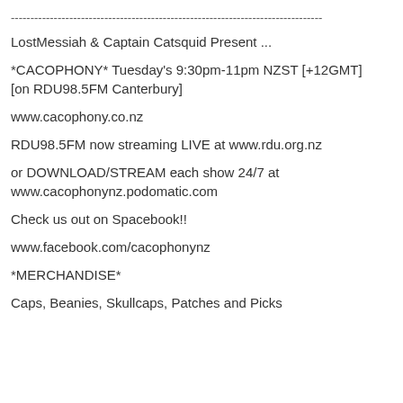--------------------------------------------------------------------------------
LostMessiah & Captain Catsquid Present ...
*CACOPHONY* Tuesday's 9:30pm-11pm NZST [+12GMT] [on RDU98.5FM Canterbury]
www.cacophony.co.nz
RDU98.5FM now streaming LIVE at www.rdu.org.nz
or DOWNLOAD/STREAM each show 24/7 at www.cacophonynz.podomatic.com
Check us out on Spacebook!!
www.facebook.com/cacophonynz
*MERCHANDISE*
Caps, Beanies, Skullcaps, Patches and Picks